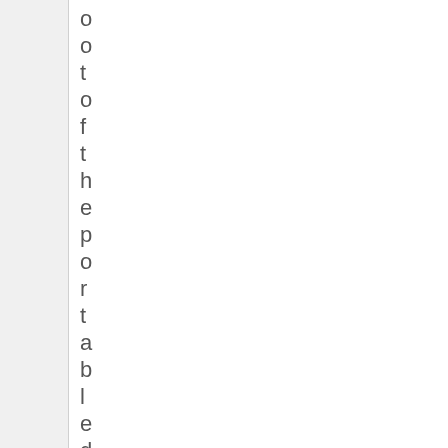o o t o f t h e p o r t a b l e d i r e